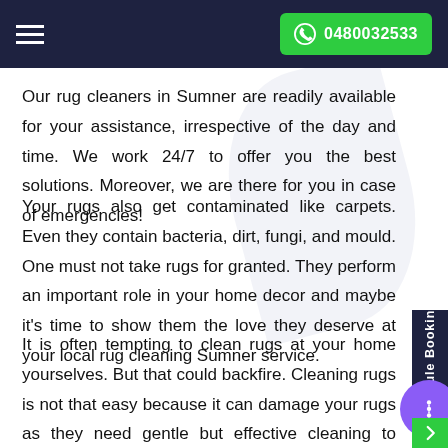0480032533
Our rug cleaners in Sumner are readily available for your assistance, irrespective of the day and time. We work 24/7 to offer you the best solutions. Moreover, we are there for you in case of emergencies!
Your rugs also get contaminated like carpets. Even they contain bacteria, dirt, fungi, and mould. One must not take rugs for granted. They perform an important role in your home decor and maybe it's time to show them the love they deserve at your local rug cleaning Sumner service.
It is often tempting to clean rugs at your home yourselves. But that could backfire. Cleaning rugs is not that easy because it can damage your rugs as they need gentle but effective cleaning to remove the entire dirt without ruining the delicate fabric. A professional rug cleaning in Sumner with trained